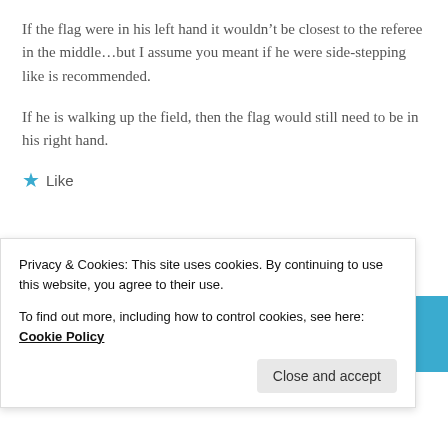If the flag were in his left hand it wouldn't be closest to the referee in the middle…but I assume you meant if he were side-stepping like is recommended.
If he is walking up the field, then the flag would still need to be in his right hand.
★ Like
[Figure (screenshot): A horizontal strip showing a blue panel on the left, a photo of a field scene in the middle with a '05' badge, and a blue panel on the right with a white rectangle overlay.]
Privacy & Cookies: This site uses cookies. By continuing to use this website, you agree to their use.
To find out more, including how to control cookies, see here: Cookie Policy
Close and accept